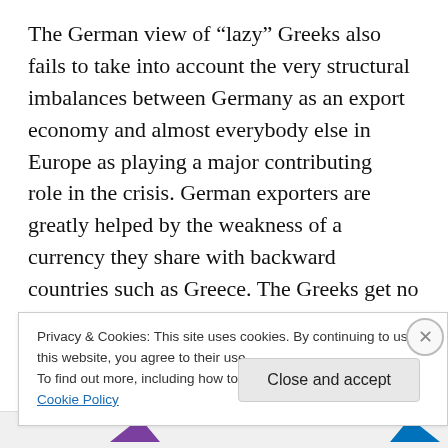The German view of “lazy” Greeks also fails to take into account the very structural imbalances between Germany as an export economy and almost everybody else in Europe as playing a major contributing  role in the crisis. German exporters are greatly helped by the weakness of a currency they share with backward countries such as Greece. The Greeks get no such benefit, suffering a much stronger currency than would otherwise be the case. The real gain of Greece sharing a currency with mighty Germany has been Greek access to cheap debt. That is
Privacy & Cookies: This site uses cookies. By continuing to use this website, you agree to their use.
To find out more, including how to control cookies, see here: Cookie Policy
Close and accept